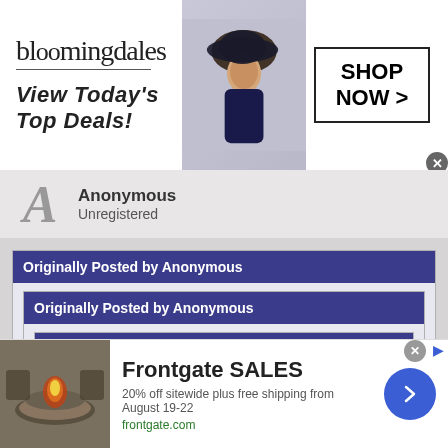[Figure (screenshot): Bloomingdales advertisement banner: logo, tagline 'View Today's Top Deals!', model photo, 'SHOP NOW >' button with close X]
Anonymous
Unregistered
Originally Posted by Anonymous
Originally Posted by Anonymous
Originally Posted by Anonymous
Grizzlies turned down the Invite due to conflicts.
Didn't want their kids playing lax at midnight 4 hours from home on a school night? Crazy?
[Figure (screenshot): Frontgate SALES advertisement: 20% off sitewide plus free shipping from August 19-22, frontgate.com, with product image and arrow button]